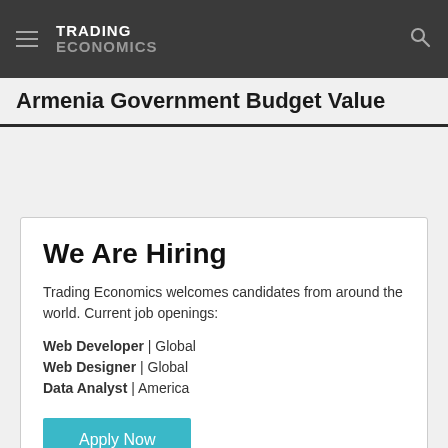TRADING ECONOMICS
Armenia Government Budget Value
We Are Hiring
Trading Economics welcomes candidates from around the world. Current job openings:
Web Developer | Global
Web Designer | Global
Data Analyst | America
Apply Now